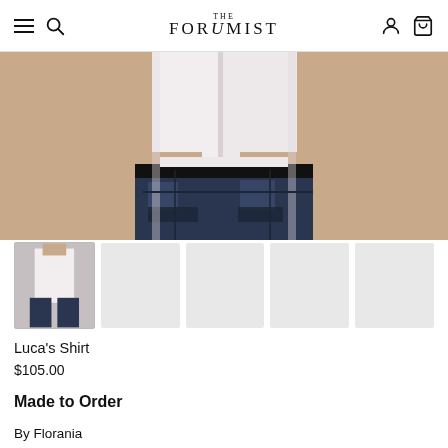THE FORUMIST
[Figure (photo): Close-up of male torso wearing a white short-sleeve button-up shirt tucked into dark blue/black patchwork jeans, hands at sides]
[Figure (photo): Thumbnail strip: first thumbnail shows full-body photo of model wearing white shirt and dark patchwork jeans; remaining four thumbnails are blank gray placeholders]
Luca's Shirt
$105.00
Made to Order
By Florania